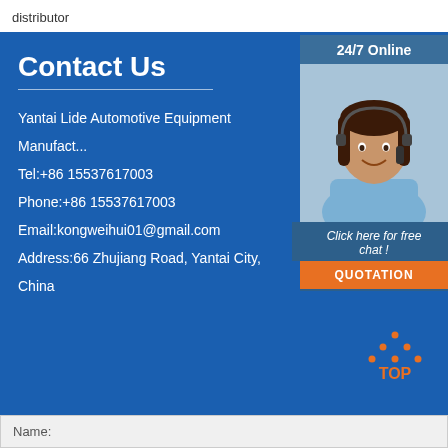distributor
Contact Us
Yantai Lide Automotive Equipment Manufact...
Tel:+86 15537617003
Phone:+86 15537617003
Email:kongweihui01@gmail.com
Address:66 Zhujiang Road, Yantai City, China
[Figure (photo): Customer service representative wearing headset, smiling. Sidebar with 24/7 Online header, chat prompt, and QUOTATION button.]
[Figure (logo): TOP logo with orange dots arranged in triangle above the word TOP in orange on blue background]
Name: